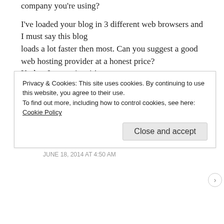I've loaded your blog in 3 different web browsers and I must say this blog loads a lot faster then most. Can you suggest a good web hosting provider at a honest price? Kudos, I appreciate it!
↳ REPLY
Download Soundcloud
JUNE 18, 2014 AT 4:50 AM
Privacy & Cookies: This site uses cookies. By continuing to use this website, you agree to their use. To find out more, including how to control cookies, see here: Cookie Policy
Close and accept